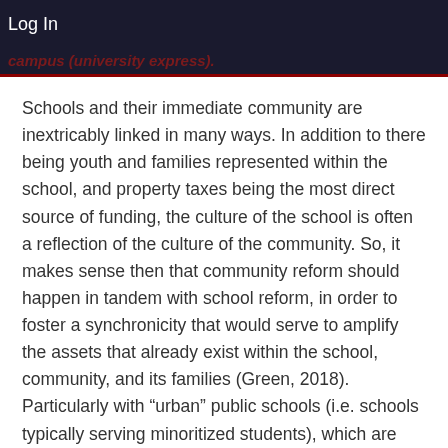Log In
campus (university express).
Schools and their immediate community are inextricably linked in many ways. In addition to there being youth and families represented within the school, and property taxes being the most direct source of funding, the culture of the school is often a reflection of the culture of the community. So, it makes sense then that community reform should happen in tandem with school reform, in order to foster a synchronicity that would serve to amplify the assets that already exist within the school, community, and its families (Green, 2018). Particularly with “urban” public schools (i.e. schools typically serving minoritized students), which are statistically victimized at higher rates by the effects of historic systemic oppression, the idea of a holistic school-community